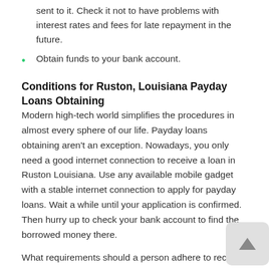sent to it. Check it not to have problems with interest rates and fees for late repayment in the future.
Obtain funds to your bank account.
Conditions for Ruston, Louisiana Payday Loans Obtaining
Modern high-tech world simplifies the procedures in almost every sphere of our life. Payday loans obtaining aren't an exception. Nowadays, you only need a good internet connection to receive a loan in Ruston Louisiana. Use any available mobile gadget with a stable internet connection to apply for payday loans. Wait a while until your application is confirmed. Then hurry up to check your bank account to find the borrowed money there.
What requirements should a person adhere to receive Ruston payday loans in Louisiana?
First of all, a person must be 18 years old at least to